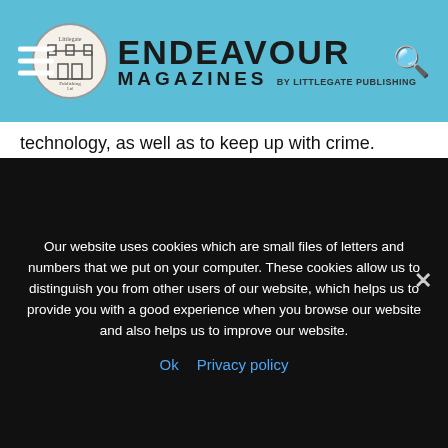Endeavour Magazines by Littlegate Publishing
technology, as well as to keep up with crime.
Of course, simply developing their technology and equipment is not enough – whether they are introducing new techniques to their operations or simply maintaining quality, it is essential that G4S' staff receive constant training. Whether employees are new to the field or have years of experience, keeping training up to date and fresh in their minds is key. As we've said, in security, there isn't
Our website uses cookies which are small files of letters and numbers that we put on your computer. These cookies allow us to distinguish you from other users of our website, which helps us to provide you with a good experience when you browse our website and also helps us to improve our website.
Ok   Privacy policy